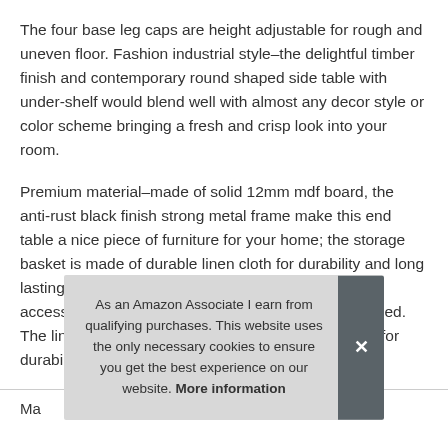The four base leg caps are height adjustable for rough and uneven floor. Fashion industrial style–the delightful timber finish and contemporary round shaped side table with under-shelf would blend well with almost any decor style or color scheme bringing a fresh and crisp look into your room.
Premium material–made of solid 12mm mdf board, the anti-rust black finish strong metal frame make this end table a nice piece of furniture for your home; the storage basket is made of durable linen cloth for durability and long lasting performance. Easy to assemble– all tools and accessories you need for this tall end table are included. The linen storage basket is made of two layers cloth for durability and long last…
As an Amazon Associate I earn from qualifying purchases. This website uses the only necessary cookies to ensure you get the best experience on our website. More information
| Ma |  |